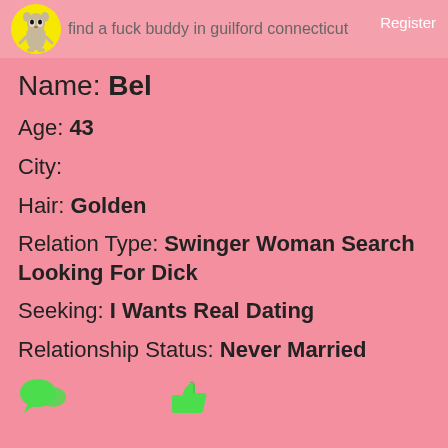find a fuck buddy in guilford connecticut  Register
Name: Bel
Age: 43
City:
Hair: Golden
Relation Type: Swinger Woman Search Looking For Dick
Seeking: I Wants Real Dating
Relationship Status: Never Married
More profiles